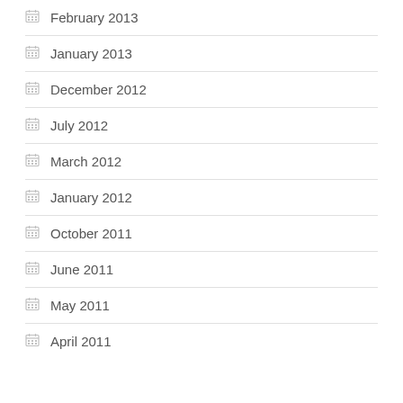February 2013
January 2013
December 2012
July 2012
March 2012
January 2012
October 2011
June 2011
May 2011
April 2011